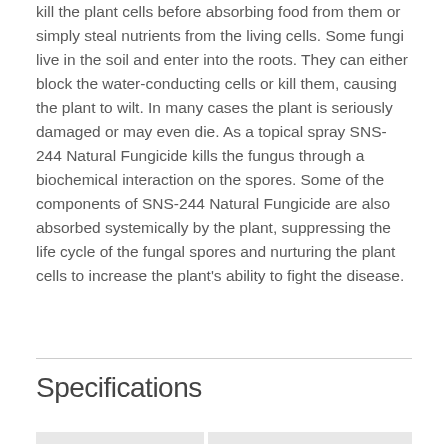kill the plant cells before absorbing food from them or simply steal nutrients from the living cells. Some fungi live in the soil and enter into the roots. They can either block the water-conducting cells or kill them, causing the plant to wilt. In many cases the plant is seriously damaged or may even die. As a topical spray SNS-244 Natural Fungicide kills the fungus through a biochemical interaction on the spores. Some of the components of SNS-244 Natural Fungicide are also absorbed systemically by the plant, suppressing the life cycle of the fungal spores and nurturing the plant cells to increase the plant's ability to fight the disease.
Specifications